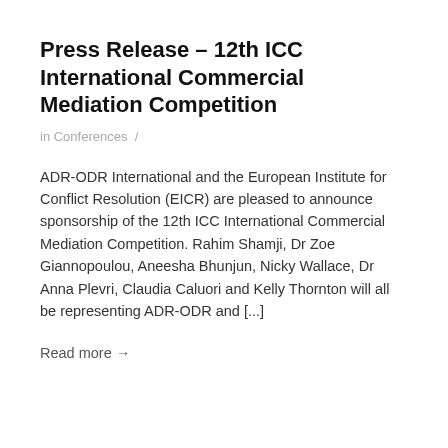Press Release – 12th ICC International Commercial Mediation Competition
in Conferences /
ADR-ODR International and the European Institute for Conflict Resolution (EICR) are pleased to announce sponsorship of the 12th ICC International Commercial Mediation Competition. Rahim Shamji, Dr Zoe Giannopoulou, Aneesha Bhunjun, Nicky Wallace, Dr Anna Plevri, Claudia Caluori and Kelly Thornton will all be representing ADR-ODR and [...]
Read more →